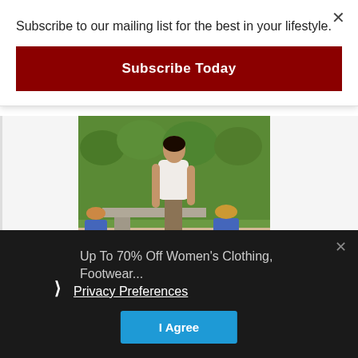Subscribe to our mailing list for the best in your lifestyle.
Subscribe Today
[Figure (photo): Fashion photo of a woman wearing a white blouse and brown slim pants with nude heels, standing near a concrete bench in an outdoor patio setting with green hedges and blue planters in the background.]
Up To 70% Off Women's Clothing, Footwear...
Privacy Preferences
I Agree